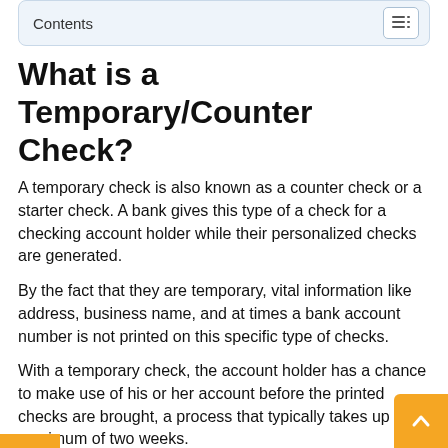Contents
What is a Temporary/Counter Check?
A temporary check is also known as a counter check or a starter check. A bank gives this type of a check for a checking account holder while their personalized checks are generated.
By the fact that they are temporary, vital information like address, business name, and at times a bank account number is not printed on this specific type of checks.
With a temporary check, the account holder has a chance to make use of his or her account before the printed checks are brought, a process that typically takes up to a maximum of two weeks.